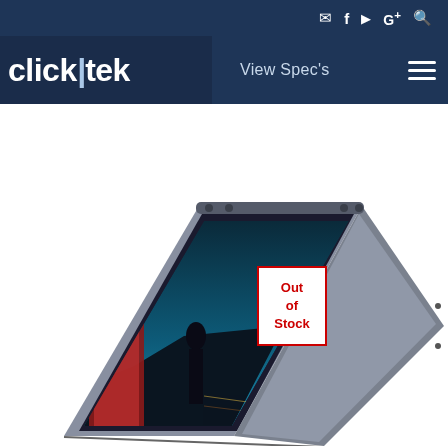✉ f ▶ G+ 🔍
[Figure (logo): click-tek company logo in white text on dark navy background]
View Spec's
[Figure (photo): Dell 2-in-1 laptop in tent mode with cityscape wallpaper displayed on screen, silver/grey color, shown against white background. An 'Out of Stock' overlay badge is visible on the screen.]